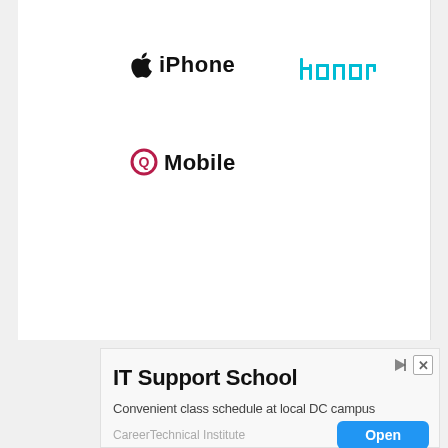[Figure (logo): Apple iPhone logo with Apple symbol and 'iPhone' text in bold black]
[Figure (logo): Honor brand logo in cyan/teal color with bracket-style letterforms]
[Figure (logo): QMobile logo with red Q circle and 'Mobile' text in bold black]
[Figure (infographic): Advertisement banner for IT Support School by CareerTechnical Institute with Open button]